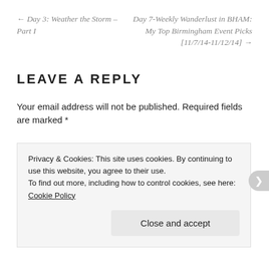← Day 3: Weather the Storm – Part I
Day 7-Weekly Wanderlust in BHAM: My Top Birmingham Event Picks [11/7/14-11/12/14] →
LEAVE A REPLY
Your email address will not be published. Required fields are marked *
Privacy & Cookies: This site uses cookies. By continuing to use this website, you agree to their use.
To find out more, including how to control cookies, see here: Cookie Policy
Close and accept